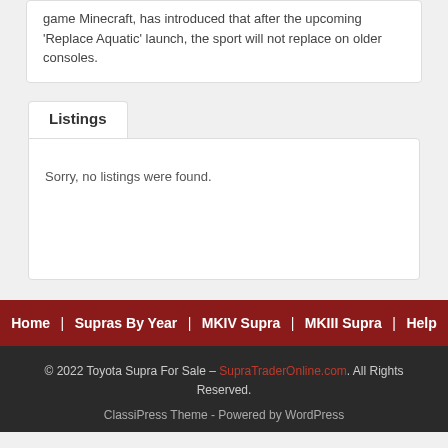game Minecraft, has introduced that after the upcoming 'Replace Aquatic' launch, the sport will not replace on older consoles.
Listings
Sorry, no listings were found.
Home | Supras By Year | MKIV Supra | MKIII Supra | Help
© 2022 Toyota Supra For Sale – SupraTraderOnline.com. All Rights Reserved.
ClassiPress Theme - Powered by WordPress